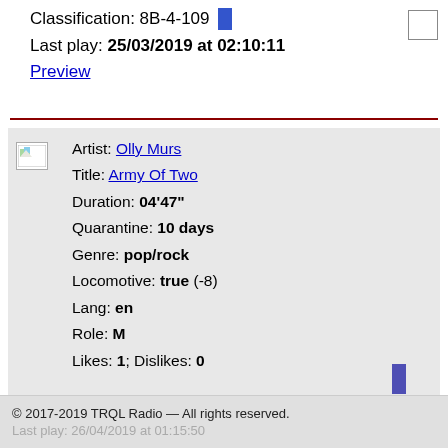Classification: 8B-4-109
Last play: 25/03/2019 at 02:10:11
Preview
Artist: Olly Murs
Title: Army Of Two
Duration: 04'47"
Quarantine: 10 days
Genre: pop/rock
Locomotive: true (-8)
Lang: en
Role: M
Likes: 1; Dislikes: 0
© 2017-2019 TRQL Radio — All rights reserved.
Last play: 26/04/2019 at 01:15:50